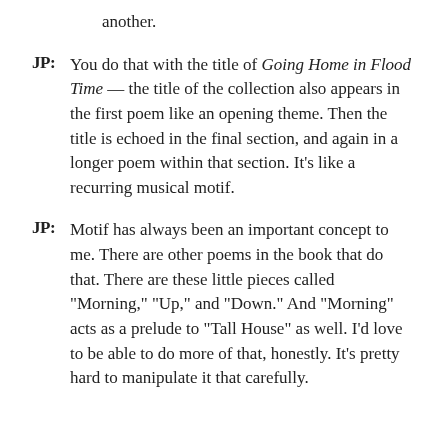another.
JP: You do that with the title of Going Home in Flood Time — the title of the collection also appears in the first poem like an opening theme. Then the title is echoed in the final section, and again in a longer poem within that section. It's like a recurring musical motif.
JP: Motif has always been an important concept to me. There are other poems in the book that do that. There are these little pieces called "Morning," "Up," and "Down." And "Morning" acts as a prelude to "Tall House" as well. I'd love to be able to do more of that, honestly. It's pretty hard to manipulate it that carefully.